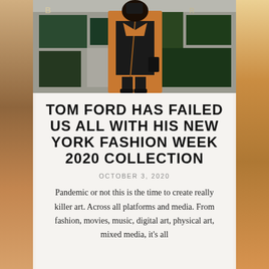[Figure (photo): Woman in tan/orange coat and black outfit standing in front of graffiti-covered wall, photographed from above waist]
TOM FORD HAS FAILED US ALL WITH HIS NEW YORK FASHION WEEK 2020 COLLECTION
OCTOBER 3, 2020
Pandemic or not this is the time to create really killer art. Across all platforms and media. From fashion, movies, music, digital art, physical art, mixed media, it's all...